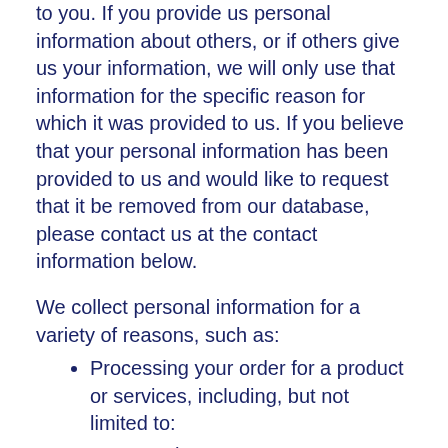to you. If you provide us personal information about others, or if others give us your information, we will only use that information for the specific reason for which it was provided to us. If you believe that your personal information has been provided to us and would like to request that it be removed from our database, please contact us at the contact information below.
We collect personal information for a variety of reasons, such as:
Processing your order for a product or services, including, but not limited to:
Purchases
Product evaluations
Technology previews
Beta downloads